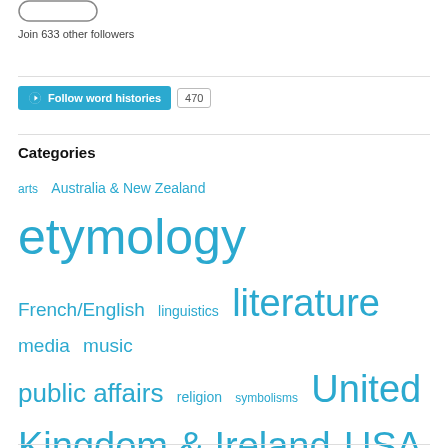[Figure (illustration): Partial rounded rectangle button shape at the top, cropped]
Join 633 other followers
[Figure (other): Follow word histories button with WordPress icon and 470 count badge]
Categories
arts  Australia & New Zealand  etymology  French/English  linguistics  literature  media  music  public affairs  religion  symbolisms  United Kingdom & Ireland  USA & Canada